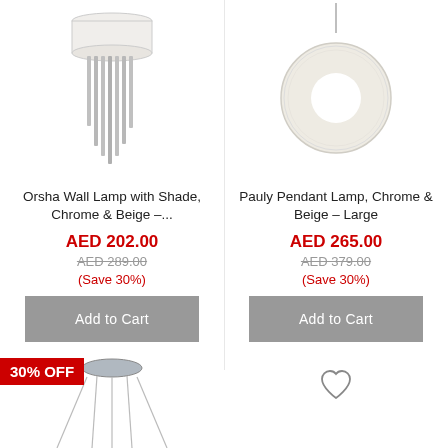[Figure (photo): Orsha Wall Lamp with shade, chrome and beige, showing cylindrical rods hanging down from a cylindrical shade]
[Figure (photo): Pauly Pendant Lamp, chrome and beige, large, showing a donut/ring shaped beige lampshade suspended by a thin cord]
Orsha Wall Lamp with Shade, Chrome & Beige –...
AED 202.00
AED 289.00
(Save 30%)
Add to Cart
Pauly Pendant Lamp, Chrome & Beige – Large
AED 265.00
AED 379.00
(Save 30%)
Add to Cart
30% OFF
[Figure (photo): Partial view of a ceiling lamp with thin wires hanging down, with a circular chrome ceiling plate]
[Figure (illustration): Heart/wishlist icon outline]